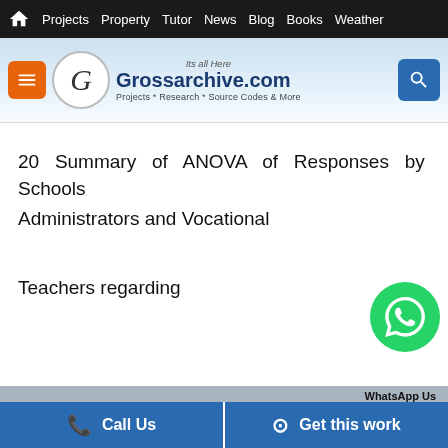Projects  Property  Tutor  News  Blog  Books  Weather
[Figure (logo): Grossarchive.com logo with menu button and search button. Tagline: Its all Here. Subtitle: Projects * Research * Source Codes & More]
20  Summary  of  ANOVA  of  Responses  by  Schools  Administrators and Vocational
Teachers regarding
Their Perception of Expected Guidelines fo
WhatsApp Us   Call Us   Get this work